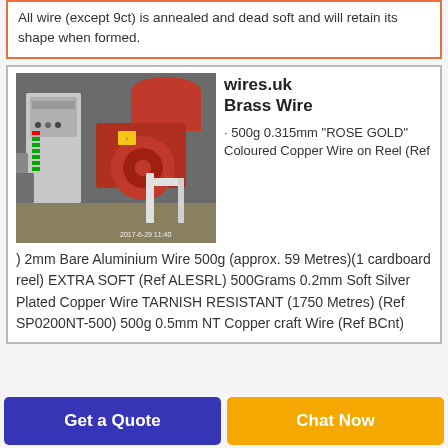All wire (except 9ct) is annealed and dead soft and will retain its shape when formed.
[Figure (photo): Industrial wire processing machinery with red components and a control panel, photographed in a factory setting. Timestamp 2017-6-29 11:40.]
wires.uk
Brass Wire
500g 0.315mm "ROSE GOLD" Coloured Copper Wire on Reel (Ref
) 2mm Bare Aluminium Wire 500g (approx. 59 Metres)(1 cardboard reel) EXTRA SOFT (Ref ALESRL) 500Grams 0.2mm Soft Silver Plated Copper Wire TARNISH RESISTANT (1750 Metres) (Ref SP0200NT-500) 500g 0.5mm NT Copper craft Wire (Ref BCnt)
Get a Quote
Chat Now